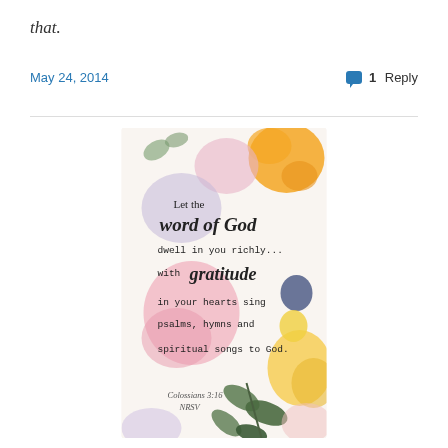that.
May 24, 2014
1 Reply
[Figure (illustration): Watercolor floral illustration with text: 'Let the word of God dwell in you richly... with gratitude in your hearts sing psalms, hymns and spiritual songs to God. Colossians 3:16 NRSV']